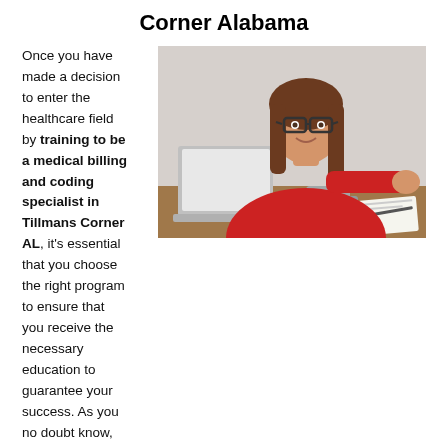Corner Alabama
[Figure (photo): A young woman with long brown hair and glasses wearing a red blazer, smiling while working on a laptop and holding a gray coffee mug. Papers and a pen are visible on the desk beside her.]
Once you have made a decision to enter the healthcare field by training to be a medical billing and coding specialist in Tillmans Corner AL, it's essential that you choose the right program to ensure that you receive the necessary education to guarantee your success. As you no doubt know, healthcare is among the fastest growing industries in the